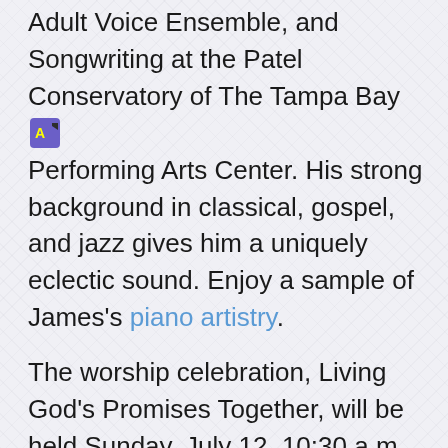Adult Voice Ensemble, and Songwriting at the Patel Conservatory of The Tampa Bay Performing Arts Center. His strong background in classical, gospel, and jazz gives him a uniquely eclectic sound. Enjoy a sample of James's piano artistry.
The worship celebration, Living God's Promises Together, will be held Sunday, July 12, 10:30 a.m. James Crumbly will lead worship with the congregation's bilingual worship team and pastors Ángel Tamayo, Marta Castillo, and Ertell Whigham.
The congregation is also hosting Mennonite